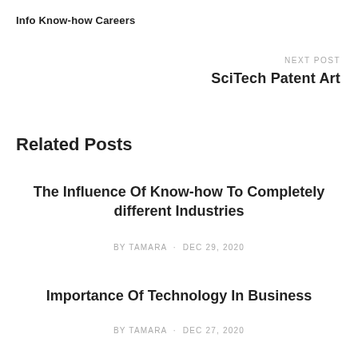Info Know-how Careers
NEXT POST
SciTech Patent Art
Related Posts
The Influence Of Know-how To Completely different Industries
BY TAMARA · DEC 29, 2020
Importance Of Technology In Business
BY TAMARA · DEC 27, 2020